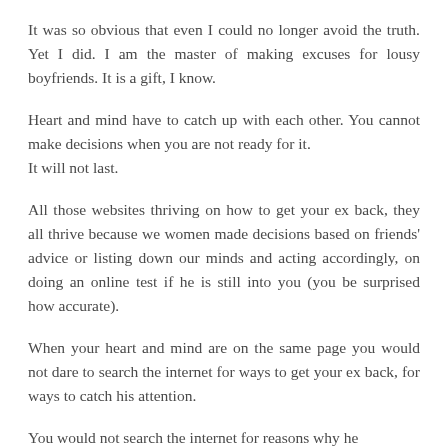It was so obvious that even I could no longer avoid the truth. Yet I did. I am the master of making excuses for lousy boyfriends. It is a gift, I know.
Heart and mind have to catch up with each other. You cannot make decisions when you are not ready for it. It will not last.
All those websites thriving on how to get your ex back, they all thrive because we women made decisions based on friends' advice or listing down our minds and acting accordingly, on doing an online test if he is still into you (you be surprised how accurate).
When your heart and mind are on the same page you would not dare to search the internet for ways to get your ex back, for ways to catch his attention.
You would not search the internet for reasons why he